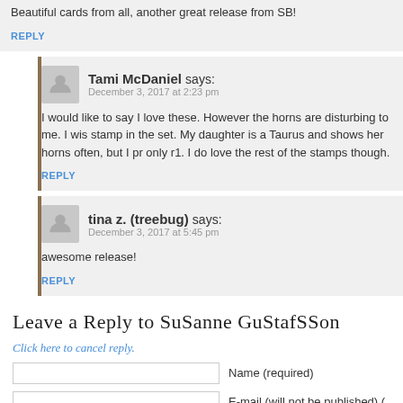Beautiful cards from all, another great release from SB!
REPLY
Tami McDaniel says:
December 3, 2017 at 2:23 pm
I would like to say I love these. However the horns are disturbing to me. I wis stamp in the set. My daughter is a Taurus and shows her horns often, but I pr only r1. I do love the rest of the stamps though.
REPLY
tina z. (treebug) says:
December 3, 2017 at 5:45 pm
awesome release!
REPLY
Leave a Reply to SuSanne GuStafSSon
Click here to cancel reply.
Name (required)
E-mail (will not be published) (